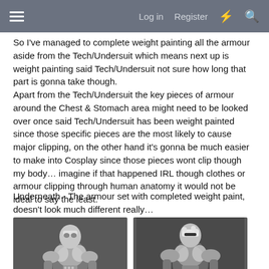≡  Log in  Register  ⚡  🔍
So I've managed to complete weight painting all the armour aside from the Tech/Undersuit which means next up is weight painting said Tech/Undersuit not sure how long that part is gonna take though.
Apart from the Tech/Undersuit the key pieces of armour around the Chest & Stomach area might need to be looked over once said Tech/Undersuit has been weight painted since those specific pieces are the most likely to cause major clipping, on the other hand it's gonna be much easier to make into Cosplay since those pieces wont clip though my body… imagine if that happened IRL though clothes or armour clipping through human anatomy it would not be ideal to say the least.
Underneath - The armour set with completed weight paint, doesn't look much different really…
[Figure (photo): Black and white 3D render of an armoured figure, front-left view]
[Figure (photo): Black and white 3D render of an armoured figure, front-right view]